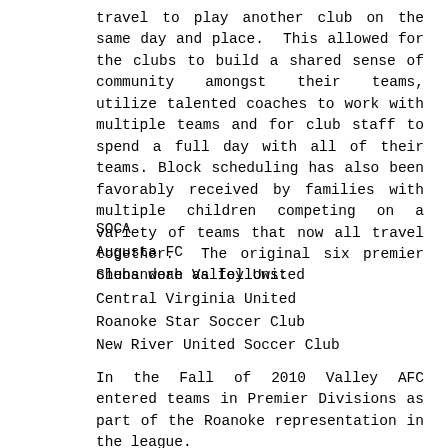travel to play another club on the same day and place. This allowed for the clubs to build a shared sense of community amongst their teams, utilize talented coaches to work with multiple teams and for club staff to spend a full day with all of their teams. Block scheduling has also been favorably received by families with multiple children competing on a variety of teams that now all travel together. The original six premier clubs were as follows:
SOCA
Augusta FC
Shenandoah Valley United
Central Virginia United
Roanoke Star Soccer Club
New River United Soccer Club
In the Fall of 2010 Valley AFC entered teams in Premier Divisions as part of the Roanoke representation in the league.